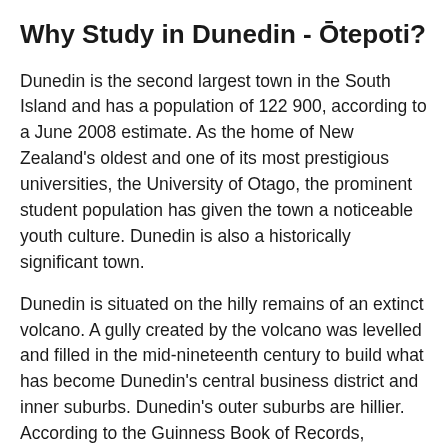Why Study in Dunedin - Ōtepoti?
Dunedin is the second largest town in the South Island and has a population of 122 900, according to a June 2008 estimate. As the home of New Zealand's oldest and one of its most prestigious universities, the University of Otago, the prominent student population has given the town a noticeable youth culture. Dunedin is also a historically significant town.
Dunedin is situated on the hilly remains of an extinct volcano. A gully created by the volcano was levelled and filled in the mid-nineteenth century to build what has become Dunedin's central business district and inner suburbs. Dunedin's outer suburbs are hillier. According to the Guinness Book of Records, Baldwin Street (in Dunedin's Northwest Valley) is the steepest street in the world.
The town is bordered by the Otago Harbour to the east and the Waipori/Taieri River in the south-west. Dunedin's skyline